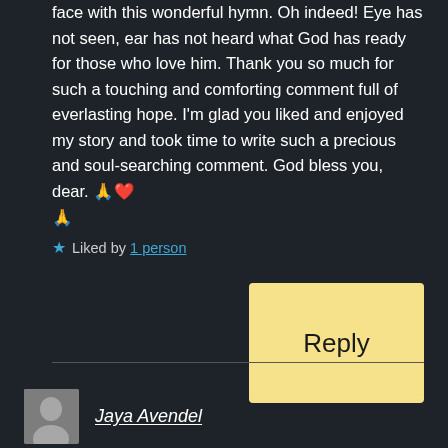face with this wonderful hymn. Oh indeed! Eye has not seen, ear has not heard what God has ready for those who love him. Thank you so much for such a touching and comforting comment full of everlasting hope. I'm glad you liked and enjoyed my story and took time to write such a precious and soul-searching comment. God bless you, dear. 🙏❤️ 🙏
★ Liked by 1 person
Reply
Jaya Avendel